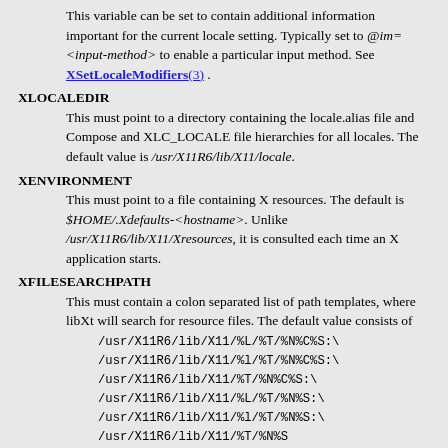This variable can be set to contain additional information important for the current locale setting. Typically set to @im=<input-method> to enable a particular input method. See XSetLocaleModifiers(3) .
XLOCALEDIR
This must point to a directory containing the locale.alias file and Compose and XLC_LOCALE file hierarchies for all locales. The default value is /usr/X11R6/lib/X11/locale.
XENVIRONMENT
This must point to a file containing X resources. The default is $HOME/.Xdefaults-<hostname>. Unlike /usr/X11R6/lib/X11/Xresources, it is consulted each time an X application starts.
XFILESEARCHPATH
This must contain a colon separated list of path templates, where libXt will search for resource files. The default value consists of
/usr/X11R6/lib/X11/%L/%T/%N%C%S:\
/usr/X11R6/lib/X11/%l/%T/%N%C%S:\
/usr/X11R6/lib/X11/%T/%N%C%S:\
/usr/X11R6/lib/X11/%L/%T/%N%S:\
/usr/X11R6/lib/X11/%l/%T/%N%S:\
/usr/X11R6/lib/X11/%T/%N%S